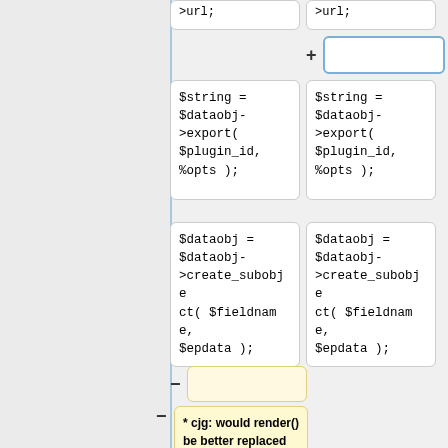[Figure (screenshot): Code diff/comparison view showing PHP code blocks with two columns. Top partial boxes show '>url;'. A blue-highlighted plus row with empty input box. Two rows of code boxes showing '$string = $dataobj->export($plugin_id, %opts);' and '$dataobj = $dataobj->create_subobject($fieldname, $epdata);'. A yellow minus row with empty box. A yellow comment box saying '* cjg: would render() be better replaced with something which returns a hash not an array?']